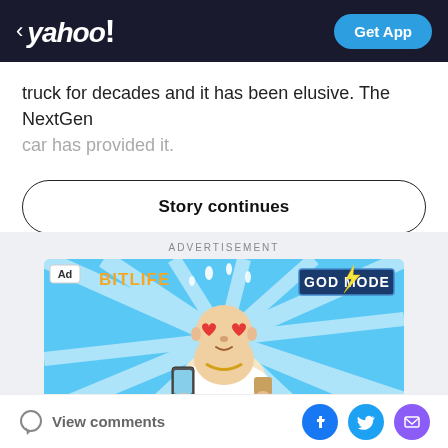< yahoo! | Get App
truck for decades and it has been elusive. The NextGen car has provided it.
Story continues
ADVERTISEMENT
[Figure (illustration): BitLife game advertisement showing a cartoon Buddha-like character with heart eyes holding a phone, with 'GOD MODE' text and lightning bolt, blue ray background]
View comments | Facebook share | Twitter share | Email share